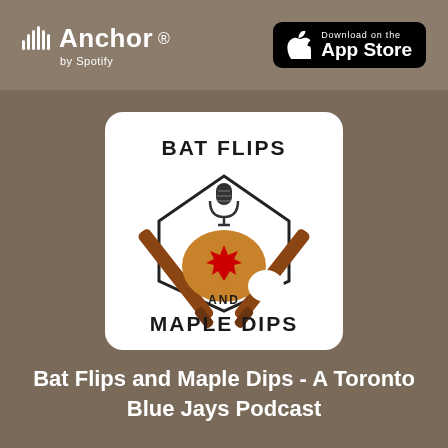[Figure (logo): Anchor by Spotify logo - top left of header bar]
[Figure (logo): Download on the App Store badge - top right of header bar]
[Figure (illustration): Bat Flips and Maple Dips podcast logo: crossed baseball bats, microphone, home plate shape, maple syrup donut with red maple leaf, text BAT FLIPS and MAPLE DIPS]
Bat Flips and Maple Dips - A Toronto Blue Jays Podcast